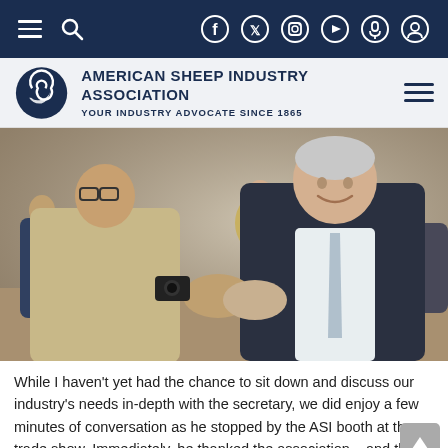Navigation bar with menu, search, Facebook, Twitter, Instagram, YouTube, microphone, and user icons
[Figure (logo): American Sheep Industry Association logo with spiral sheep head icon and text 'AMERICAN SHEEP INDUSTRY ASSOCIATION / YOUR INDUSTRY ADVOCATE SINCE 1865']
[Figure (photo): Two men shaking hands at a trade show event, with other attendees visible in the background. One man in a tan/khaki jacket on the left, another in a dark suit with light tie on the right smiling. A man in a yellow shirt visible in the background.]
While I haven't yet had the chance to sit down and discuss our industry's needs in-depth with the secretary, we did enjoy a few minutes of conversation as he stopped by the ASI booth at the trade show. Immediately, he thanked the association – and the